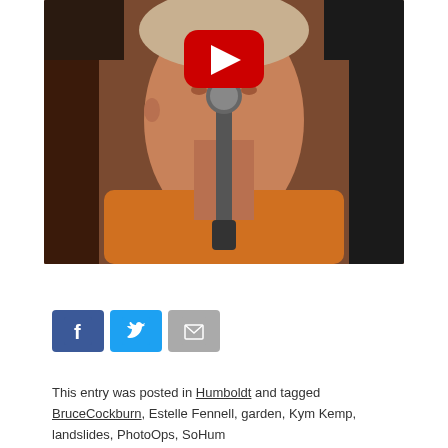[Figure (screenshot): YouTube video thumbnail showing a close-up of a person singing into a microphone, wearing an orange shirt. A red YouTube play button overlay is visible in the upper center of the image.]
[Figure (infographic): Social sharing icons: Facebook (blue), Twitter (light blue), and Email/mail (gray)]
This entry was posted in Humboldt and tagged BruceCockburn, Estelle Fennell, garden, Kym Kemp, landslides, PhotoOps, SoHum